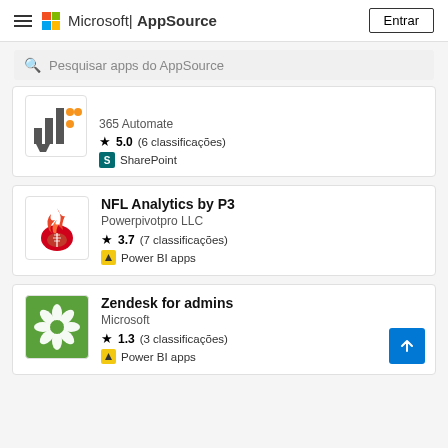Microsoft | AppSource — Entrar
Pesquisar apps do AppSource
365 Automate — SharePoint — 5.0 (6 classificações)
NFL Analytics by P3 — Powerpivotpro LLC — Power BI apps — 3.7 (7 classificações)
Zendesk for admins — Microsoft — Power BI apps — 1.3 (3 classificações)